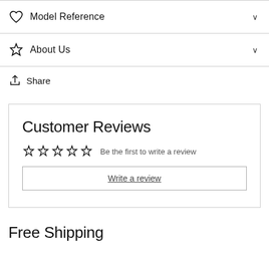Model Reference
About Us
Share
Customer Reviews
Be the first to write a review
Write a review
Free Shipping